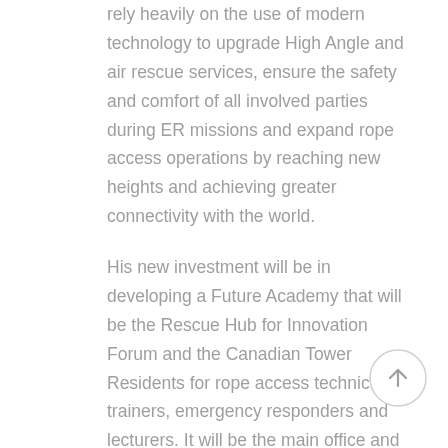rely heavily on the use of modern technology to upgrade High Angle and air rescue services, ensure the safety and comfort of all involved parties during ER missions and expand rope access operations by reaching new heights and achieving greater connectivity with the world.
His new investment will be in developing a Future Academy that will be the Rescue Hub for Innovation Forum and the Canadian Tower Residents for rope access technicians, trainers, emergency responders and lecturers. It will be the main office and training facility of the "Highrise
[Figure (other): A circular scroll-to-top button with an upward arrow icon, light grey border and white background]